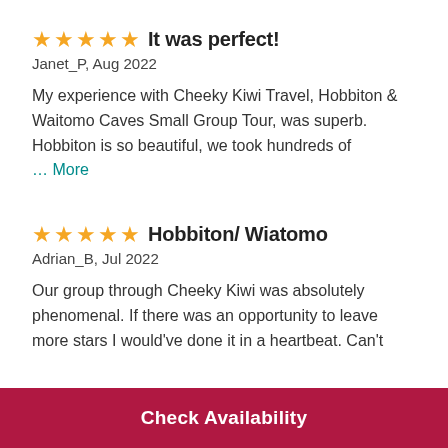⭐⭐⭐⭐⭐ It was perfect!
Janet_P, Aug 2022
My experience with Cheeky Kiwi Travel, Hobbiton & Waitomo Caves Small Group Tour, was superb. Hobbiton is so beautiful, we took hundreds of … More
⭐⭐⭐⭐⭐ Hobbiton/ Wiatomo
Adrian_B, Jul 2022
Our group through Cheeky Kiwi was absolutely phenomenal. If there was an opportunity to leave more stars I would've done it in a heartbeat. Can't
Check Availability